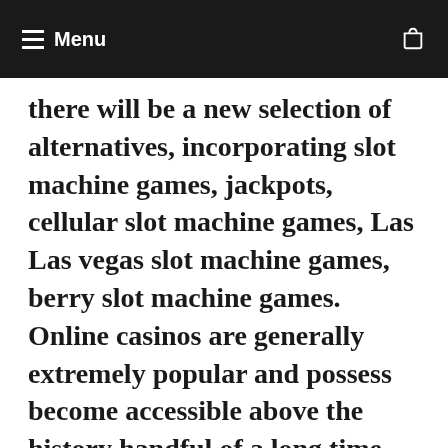Menu
there will be a new selection of alternatives, incorporating slot machine games, jackpots, cellular slot machine games, Las Las vegas slot machine games, berry slot machine games. Online casinos are generally extremely popular and possess become accessible above the history handful of a long time increasingly, almost every thirty day period with New Online Cell phone Gambling house internet sites looking, due the expand in Online